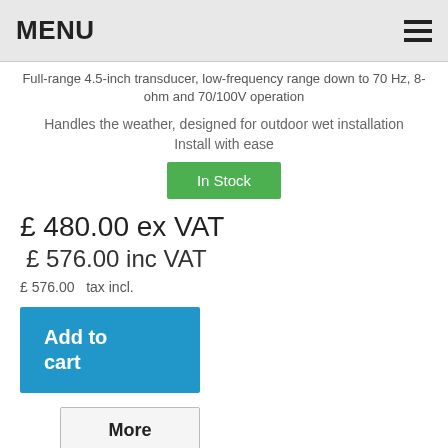MENU
Full-range 4.5-inch transducer, low-frequency range down to 70 Hz, 8-ohm and 70/100V operation
Handles the weather, designed for outdoor wet installation
Install with ease
In Stock
£ 480.00 ex VAT
£ 576.00 inc VAT
£ 576.00   tax incl.
Add to cart
More